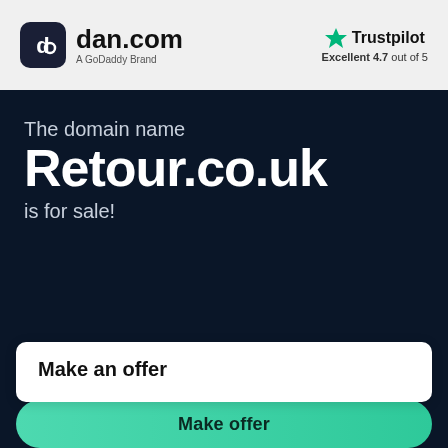[Figure (logo): dan.com logo with dark rounded square icon containing a stylized 'd' and 'c' symbol, with text 'dan.com' and 'A GoDaddy Brand' below]
[Figure (logo): Trustpilot logo with green star icon and text 'Trustpilot', rating 'Excellent 4.7 out of 5']
The domain name
Retour.co.uk
is for sale!
Make an offer
Make offer